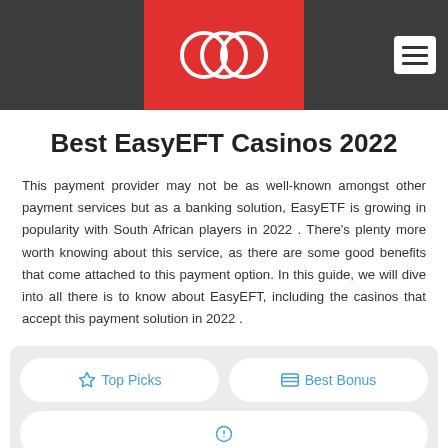Best EasyEFT Casinos 2022
Best EasyEFT Casinos 2022
This payment provider may not be as well-known amongst other payment services but as a banking solution, EasyETF is growing in popularity with South African players in 2022 . There's plenty more worth knowing about this service, as there are some good benefits that come attached to this payment option. In this guide, we will dive into all there is to know about EasyEFT, including the casinos that accept this payment solution in 2022 .
[Figure (infographic): Navigation buttons: Top Picks (star icon) and Best Bonus (banknote icon) in a light gray card section]